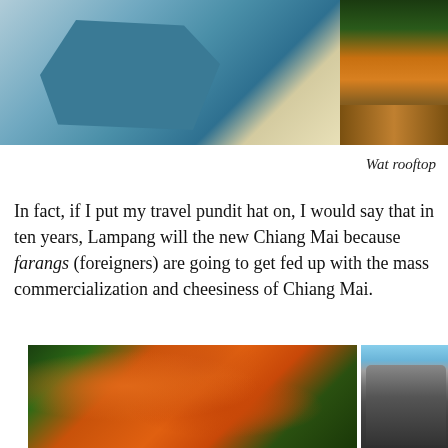[Figure (photo): Two photos side by side at top: left shows a map with teal/blue tones, right shows a Thai wat (temple) rooftop with golden decorative elements against green foliage]
Wat rooftop
In fact, if I put my travel pundit hat on, I would say that in ten years, Lampang will the new Chiang Mai because farangs (foreigners) are going to get fed up with the mass commercialization and cheesiness of Chiang Mai.
[Figure (photo): Two photos side by side at bottom: left shows vibrant orange tropical flowers with green foliage, right shows a detailed stone temple guardian statue (naga or lion) with intricate carvings against blue sky]